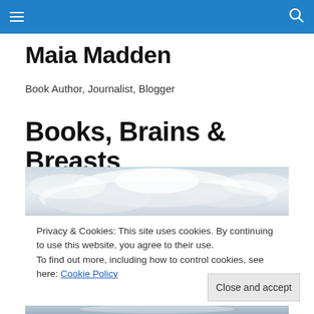Navigation bar with hamburger menu and search icon
Maia Madden
Book Author, Journalist, Blogger
Books, Brains & Breasts
[Figure (photo): Stormy cloudy sky photograph used as a blog header image]
Privacy & Cookies: This site uses cookies. By continuing to use this website, you agree to their use.
To find out more, including how to control cookies, see here: Cookie Policy
Close and accept